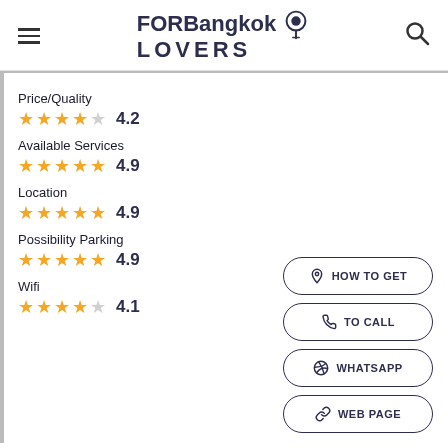FORBangkok LOVERS
Price/Quality 4.2
Available Services 4.9
Location 4.9
Possibility Parking 4.9
Wifi 4.1
HOW TO GET
TO CALL
WHATSAPP
WEB PAGE